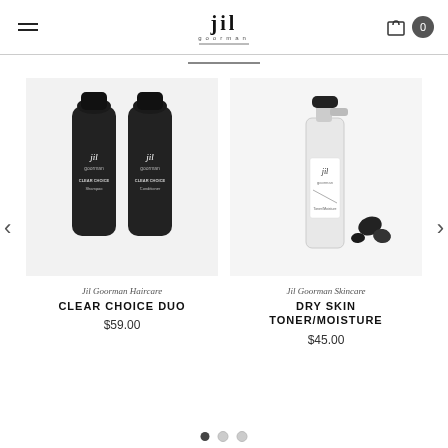[Figure (logo): Jil Goorman brand logo centered in header with hamburger menu on left and bag/circle icons on right]
[Figure (photo): Two dark matte black bottles of Jil Goorman Clear Choice Duo haircare product on white background]
Jil Goorman Haircare
CLEAR CHOICE DUO
$59.00
[Figure (photo): Clear spray bottle of Jil Goorman Dry Skin Toner/Moisture with black stones on white background]
Jil Goorman Skincare
DRY SKIN TONER/MOISTURE
$45.00